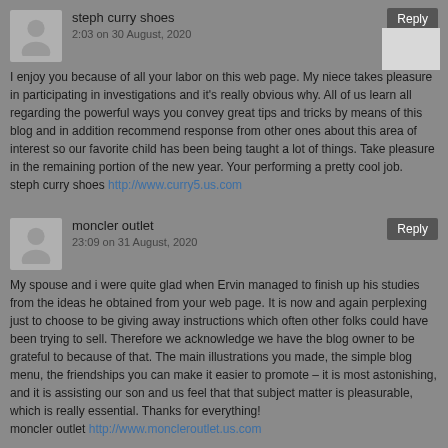steph curry shoes
2:03 on 30 August, 2020
I enjoy you because of all your labor on this web page. My niece takes pleasure in participating in investigations and it's really obvious why. All of us learn all regarding the powerful ways you convey great tips and tricks by means of this blog and in addition recommend response from other ones about this area of interest so our favorite child has been being taught a lot of things. Take pleasure in the remaining portion of the new year. Your performing a pretty cool job.
steph curry shoes http://www.curry5.us.com
moncler outlet
23:09 on 31 August, 2020
My spouse and i were quite glad when Ervin managed to finish up his studies from the ideas he obtained from your web page. It is now and again perplexing just to choose to be giving away instructions which often other folks could have been trying to sell. Therefore we acknowledge we have the blog owner to be grateful to because of that. The main illustrations you made, the simple blog menu, the friendships you can make it easier to promote – it is most astonishing, and it is assisting our son and us feel that that subject matter is pleasurable, which is really essential. Thanks for everything!
moncler outlet http://www.moncleroutlet.us.com